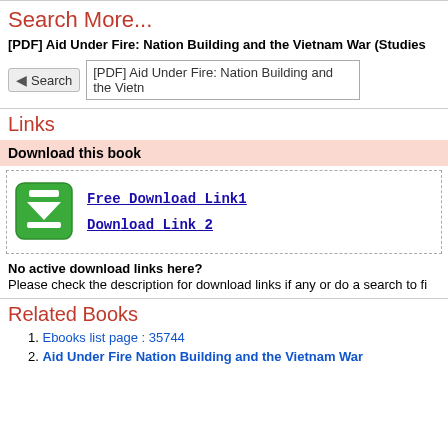Search More...
[PDF] Aid Under Fire: Nation Building and the Vietnam War (Studies
[Figure (screenshot): Search bar with left-pointing triangle Search button and text input showing '[PDF] Aid Under Fire: Nation Building and the Vietn']
Links
Download this book
[Figure (illustration): Green download icon with downward arrow and tray symbol]
Free Download Link1
Download Link 2
No active download links here?
Please check the description for download links if any or do a search to fi
Related Books
Ebooks list page : 35744
Aid Under Fire Nation Building and the Vietnam War